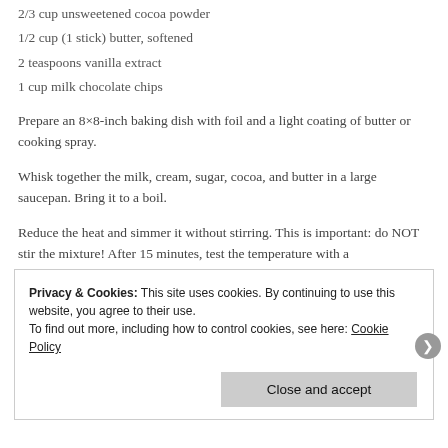2/3 cup unsweetened cocoa powder
1/2 cup (1 stick) butter, softened
2 teaspoons vanilla extract
1 cup milk chocolate chips
Prepare an 8×8-inch baking dish with foil and a light coating of butter or cooking spray.
Whisk together the milk, cream, sugar, cocoa, and butter in a large saucepan. Bring it to a boil.
Reduce the heat and simmer it without stirring. This is important: do NOT stir the mixture! After 15 minutes, test the temperature with a thermometer. Once it reaches 235°F, you're fit bullet temperature of
Privacy & Cookies: This site uses cookies. By continuing to use this website, you agree to their use.
To find out more, including how to control cookies, see here: Cookie Policy
Close and accept